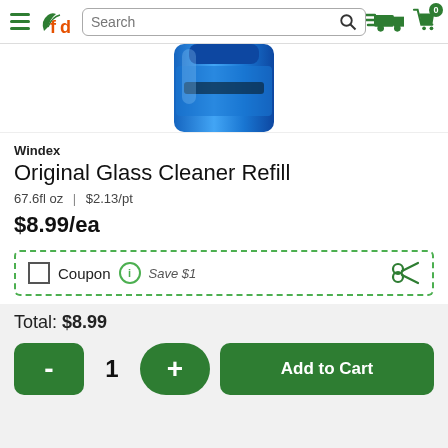[Figure (screenshot): Website header with hamburger menu, fd logo, search bar, delivery truck icon, and cart icon with 0 badge]
[Figure (photo): Partial top view of a blue Windex Original Glass Cleaner Refill bottle]
Windex
Original Glass Cleaner Refill
67.6fl oz | $2.13/pt
$8.99/ea
Coupon  i  Save $1
Total: $8.99
- 1 + Add to Cart